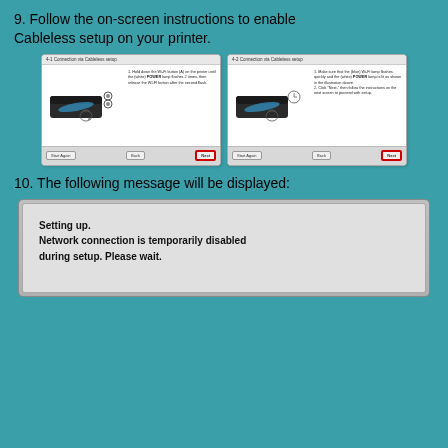9. Follow the on-screen instructions to enable Cableless setup on your printer.
[Figure (screenshot): Two side-by-side screenshots: 4-1 Connection via Cableless setup (showing printer with Wi-Fi button instruction and Next button highlighted in red) and 4-2 Connection via Cableless setup (showing printer with Wi-Fi lamp instruction and Next button highlighted in red)]
10. The following message will be displayed:
[Figure (screenshot): Dialog box showing message: Setting up. Network connection is temporarily disabled during setup. Please wait.]